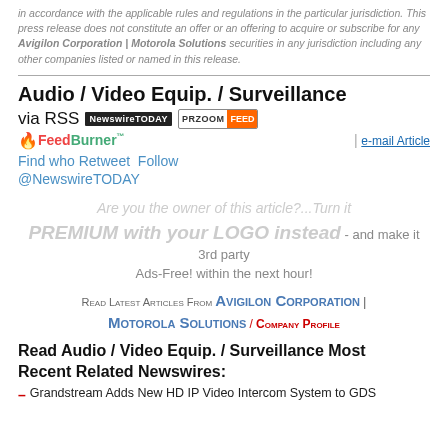in accordance with the applicable rules and regulations in the particular jurisdiction. This press release does not constitute an offer or an offering to acquire or subscribe for any Avigilon Corporation | Motorola Solutions securities in any jurisdiction including any other companies listed or named in this release.
Audio / Video Equip. / Surveillance via RSS NewswireTODAY PRZOOM FEED
[Figure (logo): FeedBurner logo with flame icon]
| e-mail Article
Find who Retweet Follow @NewswireTODAY
Are you the owner of this article?...Turn it PREMIUM with your LOGO instead - and make it 3rd party Ads-Free! within the next hour!
Read Latest Articles From Avigilon Corporation | Motorola Solutions / Company Profile
Read Audio / Video Equip. / Surveillance Most Recent Related Newswires:
Grandstream Adds New HD IP Video Intercom System to GDS